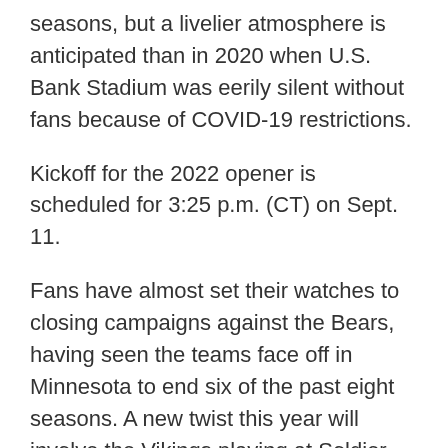seasons, but a livelier atmosphere is anticipated than in 2020 when U.S. Bank Stadium was eerily silent without fans because of COVID-19 restrictions.
Kickoff for the 2022 opener is scheduled for 3:25 p.m. (CT) on Sept. 11.
Fans have almost set their watches to closing campaigns against the Bears, having seen the teams face off in Minnesota to end six of the past eight seasons. A new twist this year will involve the Vikings playing at Soldier Field in their road finale for the first time since 2009.